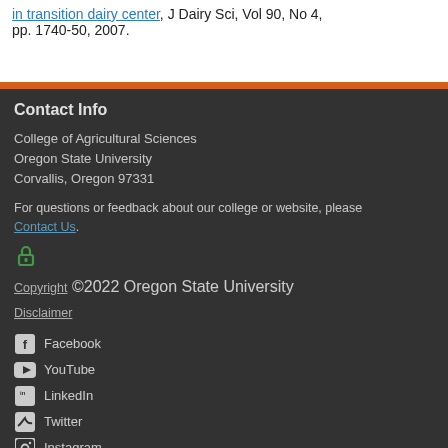in transition dairy center, J Dairy Sci, Vol 90, No 4, pp. 1740-50, 2007.
Contact Info
College of Agricultural Sciences
Oregon State University
Corvallis, Oregon 97331
For questions or feedback about our college or website, please Contact Us.
Copyright ©2022 Oregon State University
Disclaimer
Facebook
YouTube
LinkedIn
Twitter
Instagram